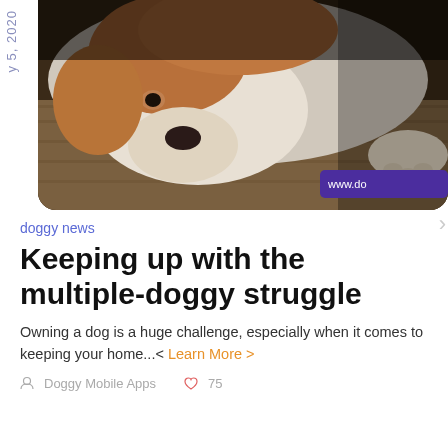[Figure (photo): A brown and white dog resting its head on a wooden floor/deck, looking sad or tired. The photo has a dark, moody tone. A purple badge with 'www.do...' is visible in the bottom right corner of the image.]
y 5, 2020
doggy news
Keeping up with the multiple-doggy struggle
Owning a dog is a huge challenge, especially when it comes to keeping your home...< Learn More >
Doggy Mobile Apps    75